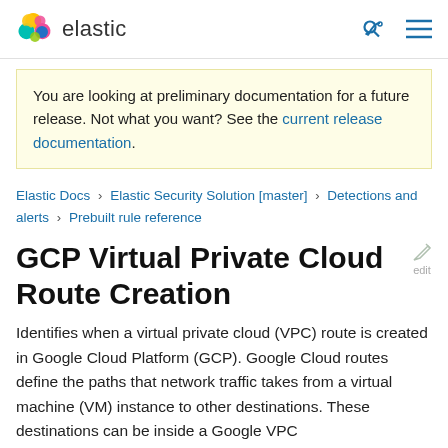elastic
You are looking at preliminary documentation for a future release. Not what you want? See the current release documentation.
Elastic Docs › Elastic Security Solution [master] › Detections and alerts › Prebuilt rule reference
GCP Virtual Private Cloud Route Creation
Identifies when a virtual private cloud (VPC) route is created in Google Cloud Platform (GCP). Google Cloud routes define the paths that network traffic takes from a virtual machine (VM) instance to other destinations. These destinations can be inside a Google VPC